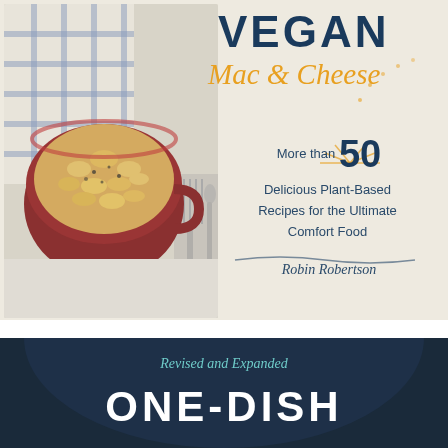[Figure (photo): Book cover for 'Vegan Mac & Cheese' by Robin Robertson. Shows a red bowl of creamy mac and cheese with black pepper on top, placed on a blue-checked cloth napkin. Title text reads 'VEGAN Mac & Cheese - More than 50 Delicious Plant-Based Recipes for the Ultimate Comfort Food' by Robin Robertson. Background is light cream/off-white.]
[Figure (photo): Partial book cover for 'Revised and Expanded ONE-DISH' cookbook. Dark navy blue background with an arch shape. Text in teal italic reads 'Revised and Expanded' and below in large white bold uppercase letters 'ONE-DISH'.]